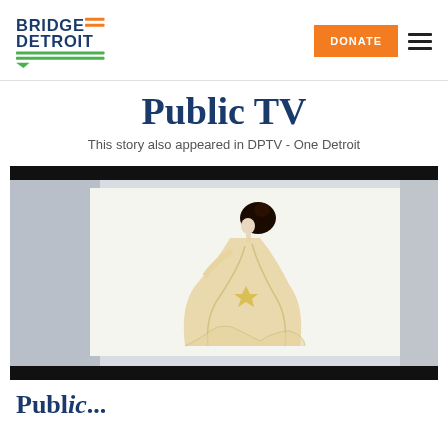BRIDGE DETROIT
Public TV
This story also appeared in DPTV - One Detroit
[Figure (photo): A fashion illustration artwork showing a woman in an elegant flowing white/cream gown with dark hair, displayed on a white wall in a gallery-like setting.]
Public...